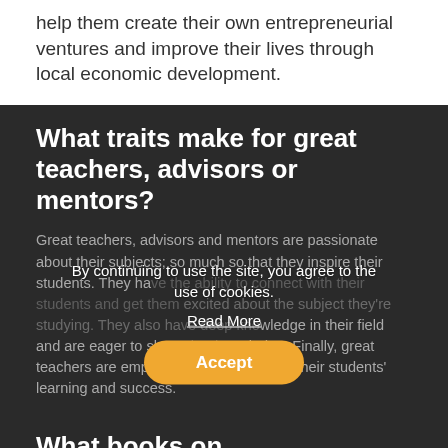help them create their own entrepreneurial ventures and improve their lives through local economic development.
What traits make for great teachers, advisors or mentors?
Great teachers, advisors and mentors are passionate about their subjects; so much so that they inspire their students. They have the ability to connect with their students and get them excited about the subject they're studying. They also have deep knowledge in their field and are eager to share that knowledge. Finally, great teachers are empathetic and care about their students' learning and success.
By continuing to use the site, you agree to the use of cookies.
Read More
Accept
What books on entrepreneurship and innovation have you been